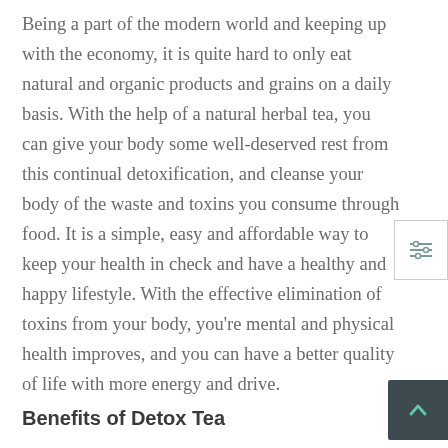Being a part of the modern world and keeping up with the economy, it is quite hard to only eat natural and organic products and grains on a daily basis. With the help of a natural herbal tea, you can give your body some well-deserved rest from this continual detoxification, and cleanse your body of the waste and toxins you consume through food. It is a simple, easy and affordable way to keep your health in check and have a healthy and happy lifestyle. With the effective elimination of toxins from your body, you're mental and physical health improves, and you can have a better quality of life with more energy and drive.
Benefits of Detox Tea